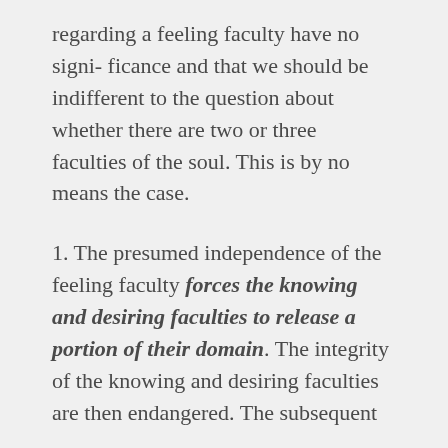regarding a feeling faculty have no signi- ficance and that we should be indifferent to the question about whether there are two or three faculties of the soul. This is by no means the case.
1. The presumed independence of the feeling faculty forces the knowing and desiring faculties to release a portion of their domain. The integrity of the knowing and desiring faculties are then endangered. The subsequent